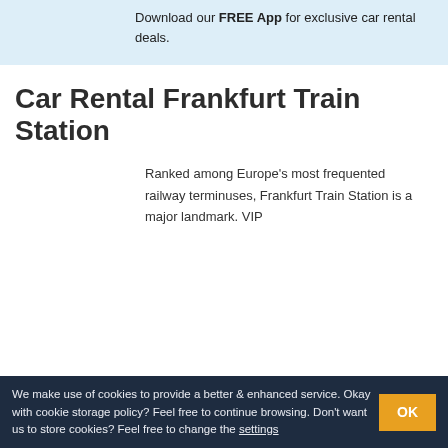Download our FREE App for exclusive car rental deals.
Car Rental Frankfurt Train Station
Ranked among Europe's most frequented railway terminuses, Frankfurt Train Station is a major landmark. VIP
We make use of cookies to provide a better & enhanced service. Okay with cookie storage policy? Feel free to continue browsing. Don't want us to store cookies? Feel free to change the settings